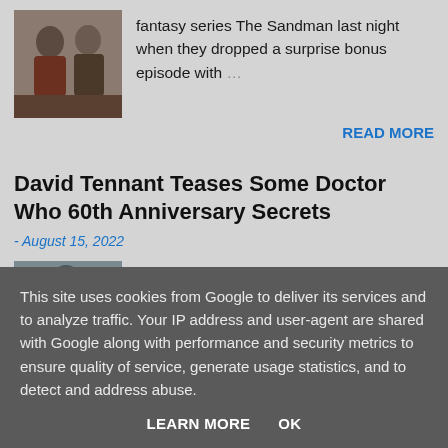fantasy series The Sandman last night when they dropped a surprise bonus episode with …
READ MORE
David Tennant Teases Some Doctor Who 60th Anniversary Secrets
- August 15, 2022
David Tennant has been chatting to fans about the 60th anniversay of Doctor Who during a
This site uses cookies from Google to deliver its services and to analyze traffic. Your IP address and user-agent are shared with Google along with performance and security metrics to ensure quality of service, generate usage statistics, and to detect and address abuse.
LEARN MORE   OK